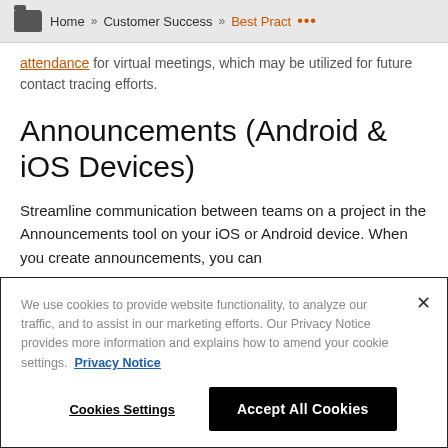Home » Customer Success » Best Pract ...
attendance for virtual meetings, which may be utilized for future contact tracing efforts.
Announcements (Android & iOS Devices)
Streamline communication between teams on a project in the Announcements tool on your iOS or Android device. When you create announcements, you can
We use cookies to provide website functionality, to analyze our traffic, and to assist in our marketing efforts. Our Privacy Notice provides more information and explains how to amend your cookie settings. Privacy Notice
Cookies Settings  Accept All Cookies